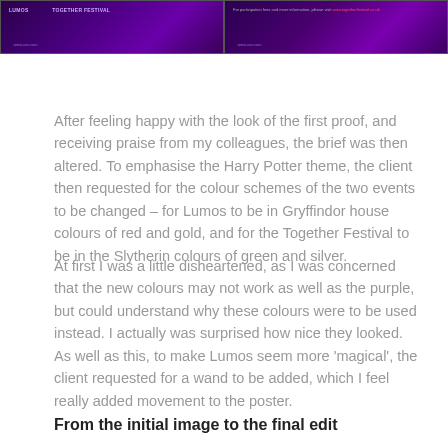[Figure (screenshot): Two side-by-side screenshots of event posters with dark purple/violet backgrounds. Left screenshot shows a poster with light-coloured text and design elements. Right screenshot shows a similar poster layout with small red hyperlink text visible.]
After feeling happy with the look of the first proof, and receiving praise from my colleagues, the brief was then altered. To emphasise the Harry Potter theme, the client then requested for the colour schemes of the two events to be changed – for Lumos to be in Gryffindor house colours of red and gold, and for the Together Festival to be in the Slytherin colours of green and silver.
At first I was a little disheartened, as I was concerned that the new colours may not work as well as the purple, but could understand why these colours were to be used instead. I actually was surprised how nice they looked. As well as this, to make Lumos seem more 'magical', the client requested for a wand to be added, which I feel really added movement to the poster.
From the initial image to the final edit